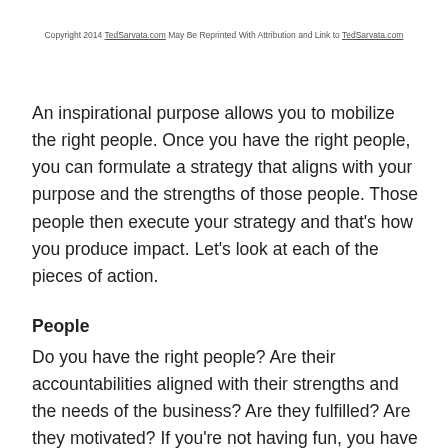Copyright 2014 TedSarvata.com May Be Reprinted With Attribution and Link to TedSarvata.com
An inspirational purpose allows you to mobilize the right people. Once you have the right people, you can formulate a strategy that aligns with your purpose and the strengths of those people. Those people then execute your strategy and that's how you produce impact. Let's look at each of the pieces of action.
People
Do you have the right people? Are their accountabilities aligned with their strengths and the needs of the business? Are they fulfilled? Are they motivated? If you're not having fun, you have a people issue. Your people need